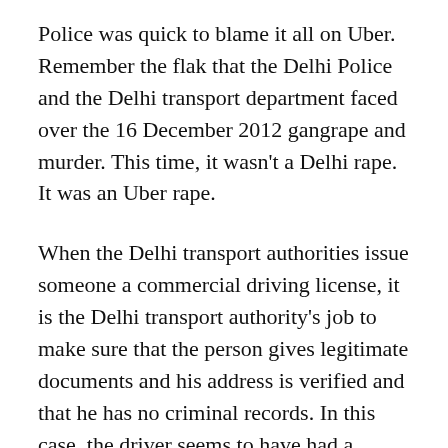Police was quick to blame it all on Uber. Remember the flak that the Delhi Police and the Delhi transport department faced over the 16 December 2012 gangrape and murder. This time, it wasn't a Delhi rape. It was an Uber rape.
When the Delhi transport authorities issue someone a commercial driving license, it is the Delhi transport authority's job to make sure that the person gives legitimate documents and his address is verified and that he has no criminal records. In this case, the driver seems to have had a character certificate from the Delhi Police. The Delhi Police claims it is fake. Now, is an employer also going to check whether every authentic-looking document